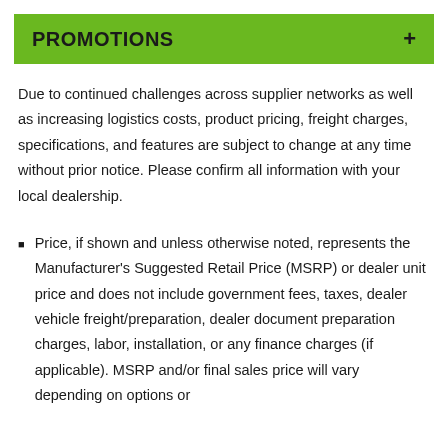PROMOTIONS
Due to continued challenges across supplier networks as well as increasing logistics costs, product pricing, freight charges, specifications, and features are subject to change at any time without prior notice. Please confirm all information with your local dealership.
Price, if shown and unless otherwise noted, represents the Manufacturer's Suggested Retail Price (MSRP) or dealer unit price and does not include government fees, taxes, dealer vehicle freight/preparation, dealer document preparation charges, labor, installation, or any finance charges (if applicable). MSRP and/or final sales price will vary depending on options or